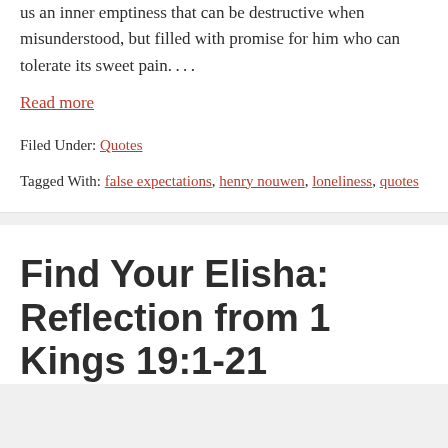us an inner emptiness that can be destructive when misunderstood, but filled with promise for him who can tolerate its sweet pain....
Read more
Filed Under: Quotes
Tagged With: false expectations, henry nouwen, loneliness, quotes
Find Your Elisha: Reflection from 1 Kings 19:1-21